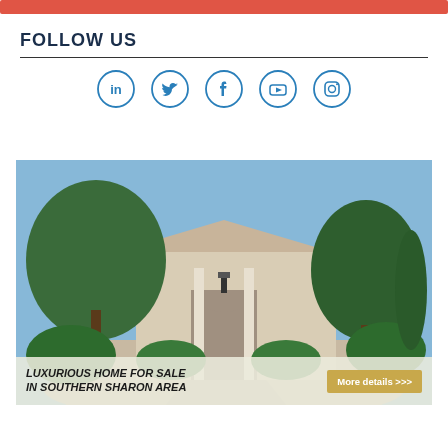[Figure (other): Red decorative bar at top of page]
FOLLOW US
[Figure (infographic): Social media icons in circles: LinkedIn, Twitter, Facebook, YouTube, Instagram]
[Figure (photo): Exterior photo of a luxurious home with trees and landscaping in Southern Sharon Area]
LUXURIOUS HOME FOR SALE IN SOUTHERN SHARON AREA
More details >>>